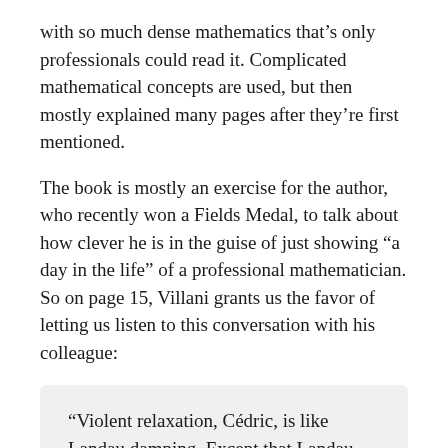with so much dense mathematics that’s only professionals could read it. Complicated mathematical concepts are used, but then mostly explained many pages after they’re first mentioned.
The book is mostly an exercise for the author, who recently won a Fields Medal, to talk about how clever he is in the guise of just showing “a day in the life” of a professional mathematician. So on page 15, Villani grants us the favor of letting us listen to this conversation with his colleague:
“Violent relaxation, Cédric, is like Landau damping. Except that Landau damping is a perturbative regime and violent relaxation is a highly nonlinear regime.”